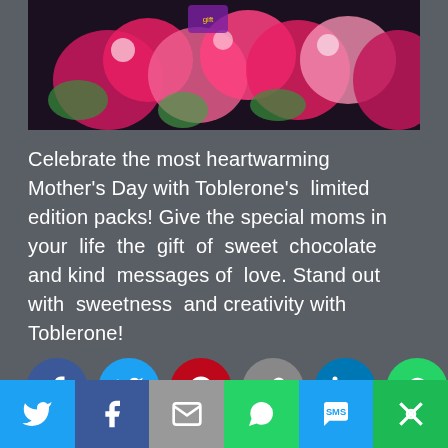[Figure (photo): Colorful arrangement of pink flowers including roses, gerbera daisies, carnations and other blooms against a dark background, with a partially visible purple/gold gift tag or card.]
Celebrate the most heartwarming Mother's Day with Toblerone's limited edition packs! Give the special moms in your life the gift of sweet chocolate and kind messages of love. Stand out with sweetness and creativity with Toblerone!
[Figure (infographic): Row of social media sharing icons: Facebook (blue), Twitter (light blue), Pinterest (red), Link/copy (grey), LinkedIn (blue), WhatsApp (green), More (green)]
PUBLISHED BY
itsgonnabmay
[Figure (infographic): Bottom sharing bar with Twitter, Facebook, Email, WhatsApp, SMS, and More buttons]